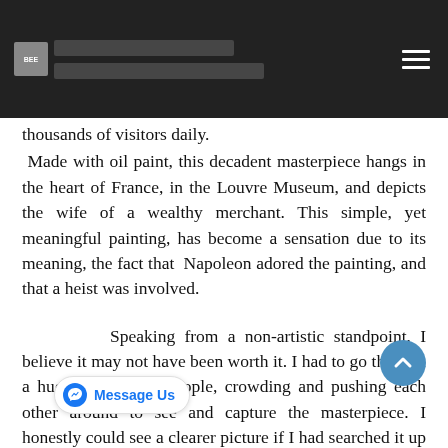[Website header with navigation]
thousands of visitors daily.
Made with oil paint, this decadent masterpiece hangs in the heart of France, in the Louvre Museum, and depicts the wife of a wealthy merchant. This simple, yet meaningful painting, has become a sensation due to its meaning, the fact that  Napoleon adored the painting, and that a heist was involved.
Speaking from a non-artistic standpoint, I believe it may not have been worth it. I had to go through a huge line full of people, crowding and pushing each other around to see and capture the masterpiece. I honestly could see a clearer picture if I had searched it up on the internet. I would be able to notice different things in a r … age than a blurry one taken from afar with ten heads blocking my view. It was pretty nice seeing it in person and "breathing the same air" as it and